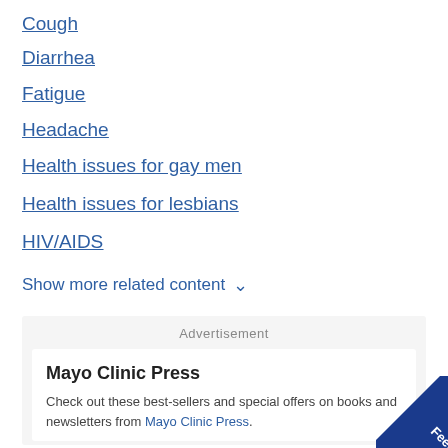Cough
Diarrhea
Fatigue
Headache
Health issues for gay men
Health issues for lesbians
HIV/AIDS
Show more related content
Advertisement
Mayo Clinic Press
Check out these best-sellers and special offers on books and newsletters from Mayo Clinic Press.
Feedback